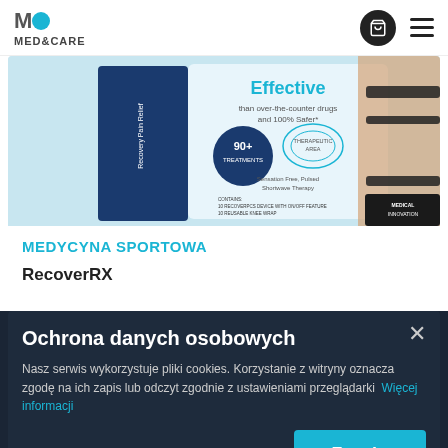MED&CARE
[Figure (photo): RecoverRX product box with knee brace image, showing shortwave therapy device packaging with '90+ treatments' badge and 'Therapeutic Area' label]
MEDYCYNA SPORTOWA
RecoverRX
Ochrona danych osobowych
Nasz serwis wykorzystuje pliki cookies. Korzystanie z witryny oznacza zgodę na ich zapis lub odczyt zgodnie z ustawieniami przeglądarki  Więcej informacji